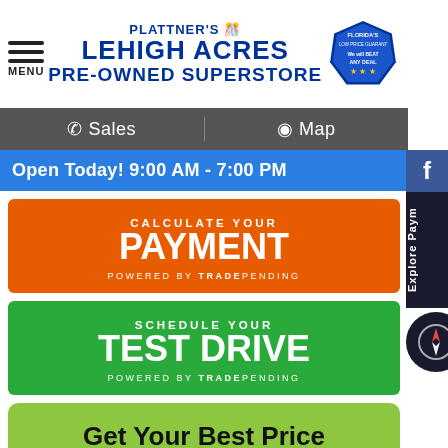PLATTNER'S LEHIGH ACRES PRE-OWNED SUPERSTORE
Sales | Map
Open Today! 9:00 AM - 7:00 PM
[Figure (infographic): Orange banner: CALCULATE YOUR PAYMENT powered by TRADEPENDING]
[Figure (infographic): Green banner: SCHEDULE YOUR TEST DRIVE powered by TRADEPENDING]
Get Your Best Price
Value Your Trade